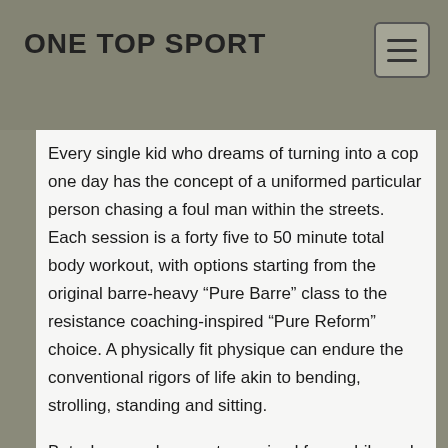ONE TOP SPORT
Every single kid who dreams of turning into a cop one day has the concept of a uniformed particular person chasing a foul man within the streets. Each session is a forty five to 50 minute total body workout, with options starting from the original barre-heavy “Pure Barre” class to the resistance coaching-inspired “Pure Reform” choice. A physically fit physique can endure the conventional rigors of life akin to bending, strolling, standing and sitting.
But when you have not exercised for a while and you’ve got health issues, chances are you’ll need to talk to your physician before beginning a new fitness routine. The sort of flexibility is used in commonplace